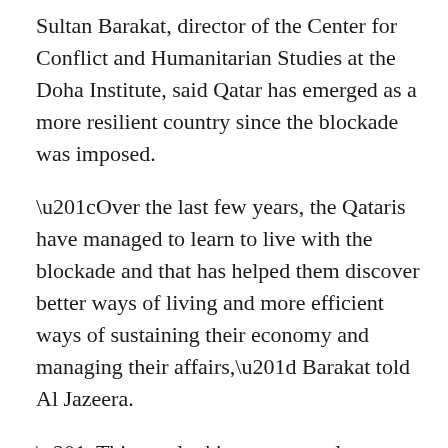Sultan Barakat, director of the Center for Conflict and Humanitarian Studies at the Doha Institute, said Qatar has emerged as a more resilient country since the blockade was imposed.
“Over the last few years, the Qataris have managed to learn to live with the blockade and that has helped them discover better ways of living and more efficient ways of sustaining their economy and managing their affairs,” Barakat told Al Jazeera.
“This resulted in an extremely resilient country that has demonstrated itself in the lifting of the blockade without them having to address the totally irrational 13 conditions,” he said.